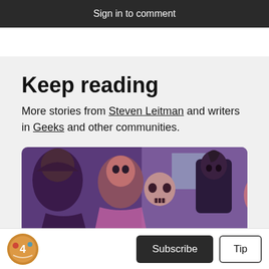Sign in to comment
Keep reading
More stories from Steven Leitman and writers in Geeks and other communities.
[Figure (illustration): Comic book panel illustration showing multiple characters in purple and pink tones, including a skull, a person with a mohawk, and other figures in a dark, stylized comic art style.]
[Figure (logo): Circular avatar logo with colorful illustration, appears to be a publication or author avatar.]
Subscribe
Tip